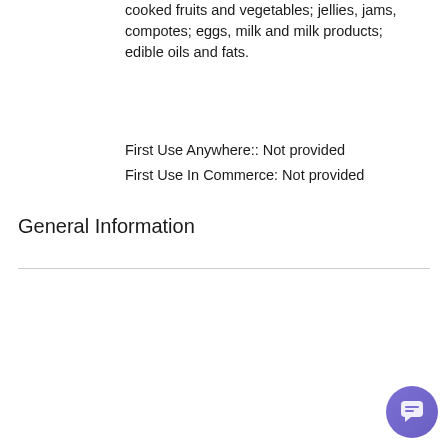cooked fruits and vegetables; jellies, jams, compotes; eggs, milk and milk products; edible oils and fats.
First Use Anywhere:: Not provided
First Use In Commerce: Not provided
General Information
| Field | Value |
| --- | --- |
| Word mark: | JACKSON'S |
| Status/Status Date: | REGISTERED
5/3/2022 |
| Serial Number: | 90593279 |